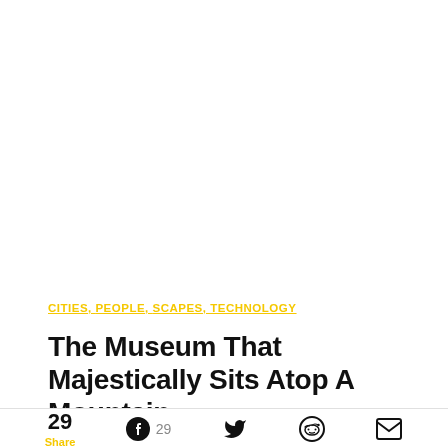CITIES, PEOPLE, SCAPES, TECHNOLOGY
The Museum That Majestically Sits Atop A Mountain
29 Share  29  (Facebook, Twitter, Reddit, Email icons)